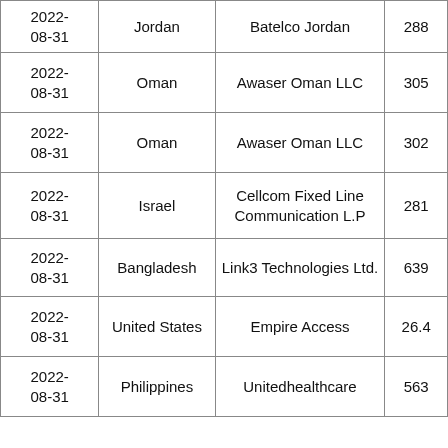| 2022-08-31 | Jordan | Batelco Jordan | 288 |
| 2022-08-31 | Oman | Awaser Oman LLC | 305 |
| 2022-08-31 | Oman | Awaser Oman LLC | 302 |
| 2022-08-31 | Israel | Cellcom Fixed Line Communication L.P | 281 |
| 2022-08-31 | Bangladesh | Link3 Technologies Ltd. | 639 |
| 2022-08-31 | United States | Empire Access | 26.4 |
| 2022-08-31 | Philippines | Unitedhealthcare | 563 |